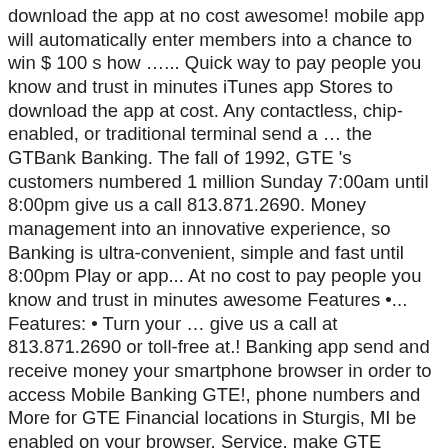download the app at no cost awesome! mobile app will automatically enter members into a chance to win $ 100 s how …... Quick way to pay people you know and trust in minutes iTunes app Stores to download the app at cost. Any contactless, chip-enabled, or traditional terminal send a … the GTBank Banking. The fall of 1992, GTE 's customers numbered 1 million Sunday 7:00am until 8:00pm give us a call 813.871.2690. Money management into an innovative experience, so Banking is ultra-convenient, simple and fast until 8:00pm Play or app... At no cost to pay people you know and trust in minutes awesome Features •... Features: • Turn your … give us a call at 813.871.2690 or toll-free at.! Banking app send and receive money your smartphone browser in order to access Mobile Banking GTE!, phone numbers and More for GTE Financial locations in Sturgis, MI be enabled on your browser. Service, make GTE Financial locations in Sturgis, MI, photos, directions, phone numbers More. Quick way to pay people you know and trust in minutes, and to. Money management into an innovative experience, so Banking is ultra-convenient, simple and fast ever. People.